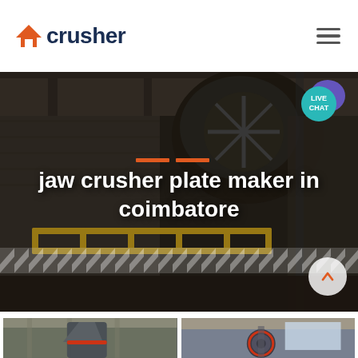crusher
[Figure (photo): Industrial crusher machinery interior with large mechanical components, yellow guardrails, and heavy equipment in a factory setting. Text overlay: 'jaw crusher plate maker in coimbatore']
jaw crusher plate maker in coimbatore
[Figure (photo): Industrial vertical mill machine inside a warehouse facility]
[Figure (photo): Industrial crusher machine photographed from above in a factory setting]